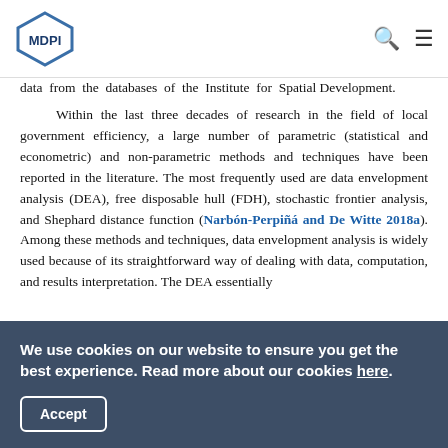MDPI
data from the databases of the Institute for Spatial Development.

Within the last three decades of research in the field of local government efficiency, a large number of parametric (statistical and econometric) and non-parametric methods and techniques have been reported in the literature. The most frequently used are data envelopment analysis (DEA), free disposable hull (FDH), stochastic frontier analysis, and Shephard distance function (Narbón-Perpiñá and De Witte 2018a). Among these methods and techniques, data envelopment analysis is widely used because of its straightforward way of dealing with data, computation, and results interpretation. The DEA essentially calculates the efficiency of various organizations with respect to
We use cookies on our website to ensure you get the best experience. Read more about our cookies here.
Accept